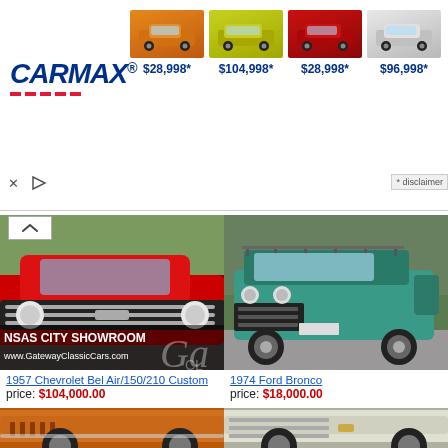[Figure (screenshot): CarMax advertisement banner with four car listings showing prices $28,998*, $104,998*, $28,998*, $96,998*]
[Figure (photo): 1957 Chevrolet Bel Air/150/210 Custom - red classic car front view with Kansas City Showroom and Gateway Classic Cars overlay]
[Figure (photo): 1974 Ford Bronco - teal/turquoise vintage SUV parked outside]
1957 Chevrolet Bel Air/150/210 Custom
price: $104,000.00
1974 Ford Bronco
price: $18,000.00
[Figure (photo): Orange classic car - partial bottom view]
[Figure (photo): White classic car - partial bottom view]